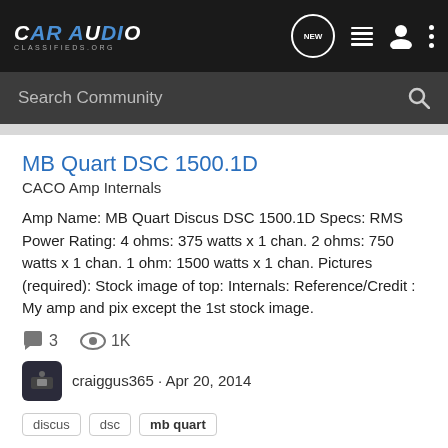CarAudio Classifieds.org — navigation bar with logo, NEW button, list icon, user icon, more icon
Search Community
MB Quart DSC 1500.1D
CACO Amp Internals
Amp Name: MB Quart Discus DSC 1500.1D Specs: RMS Power Rating: 4 ohms: 375 watts x 1 chan. 2 ohms: 750 watts x 1 chan. 1 ohm: 1500 watts x 1 chan. Pictures (required): Stock image of top: Internals: Reference/Credit : My amp and pix except the 1st stock image.
3 comments · 1K views
craiggus365 · Apr 20, 2014
discus  dsc  mb quart
Mb quart onyx 80.4